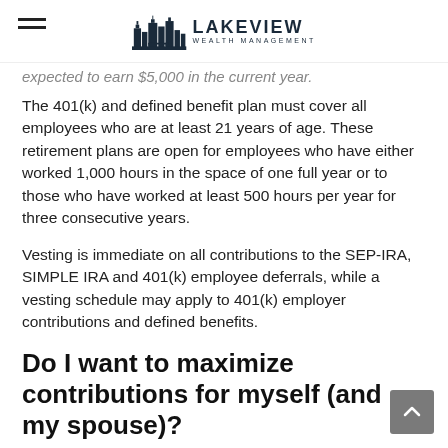Lakeview Wealth Management
expected to earn $5,000 in the current year.
The 401(k) and defined benefit plan must cover all employees who are at least 21 years of age. These retirement plans are open for employees who have either worked 1,000 hours in the space of one full year or to those who have worked at least 500 hours per year for three consecutive years.
Vesting is immediate on all contributions to the SEP-IRA, SIMPLE IRA and 401(k) employee deferrals, while a vesting schedule may apply to 401(k) employer contributions and defined benefits.
Do I want to maximize contributions for myself (and my spouse)?
The SEP-IRA and 401(k) offer higher contribution maximums than the SIMPLE IRA. For the 2021 plan year,